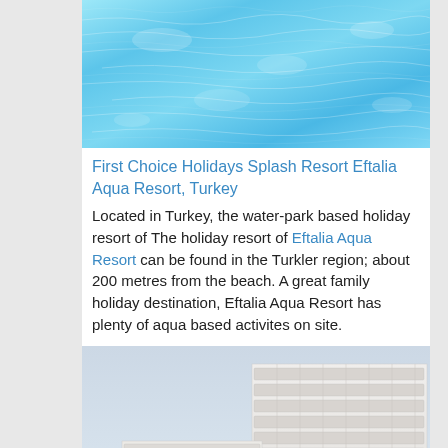[Figure (photo): Aerial or close-up view of bright turquoise swimming pool or sea water with light reflections and ripples]
First Choice Holidays Splash Resort Eftalia Aqua Resort, Turkey
Located in Turkey, the water-park based holiday resort of The holiday resort of Eftalia Aqua Resort can be found in the Turkler region; about 200 metres from the beach. A great family holiday destination, Eftalia Aqua Resort has plenty of aqua based activites on site.
[Figure (photo): Exterior photo of a large white multi-storey hotel resort building with palm trees in the foreground, balconies visible, taken at dusk or dawn with lights on at ground level]